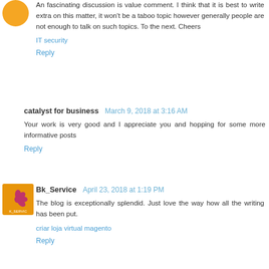An fascinating discussion is value comment. I think that it is best to write extra on this matter, it won't be a taboo topic however generally people are not enough to talk on such topics. To the next. Cheers
IT security
Reply
catalyst for business  March 9, 2018 at 3:16 AM
Your work is very good and I appreciate you and hopping for some more informative posts
Reply
[Figure (logo): Bk_Service avatar: orange square with pink/red flower icon and text K_SERVIC]
Bk_Service  April 23, 2018 at 1:19 PM
The blog is exceptionally splendid. Just love the way how all the writing has been put.
criar loja virtual magento
Reply